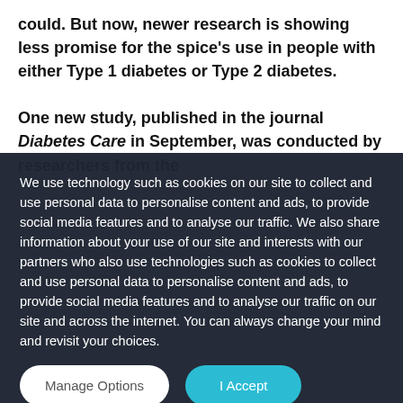could. But now, newer research is showing less promise for the spice's use in people with either Type 1 diabetes or Type 2 diabetes.

One new study, published in the journal Diabetes Care in September, was conducted by researchers from the
We use technology such as cookies on our site to collect and use personal data to personalise content and ads, to provide social media features and to analyse our traffic. We also share information about your use of our site and interests with our partners who also use technologies such as cookies to collect and use personal data to personalise content and ads, to provide social media features and to analyse our traffic on our site and across the internet. You can always change your mind and revisit your choices.